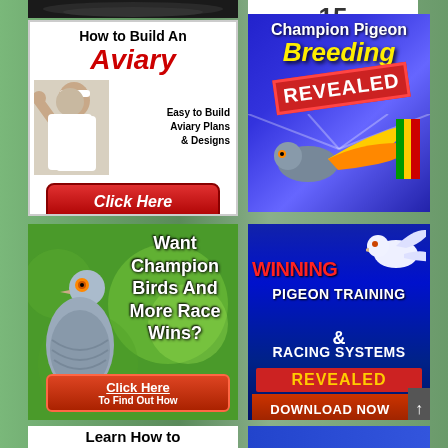[Figure (illustration): Dark bird photo at top left strip]
[Figure (advertisement): How to Build An Aviary - Easy to Build Aviary Plans & Designs - Click Here button, white background with woman and bird imagery]
[Figure (advertisement): Champion Pigeon Breeding REVEALED - blue/purple background with pigeon and yellow ribbon]
[Figure (advertisement): Want Champion Birds And More Race Wins? Click Here To Find Out How - green background with pigeon photo]
[Figure (advertisement): WINNING PIGEON TRAINING & RACING SYSTEMS REVEALED DOWNLOAD NOW - dark blue background with white pigeon]
Learn How to